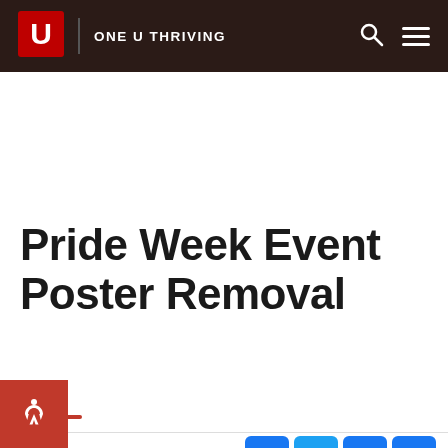ONE U THRIVING
Pride Week Event Poster Removal
March 24, 2022